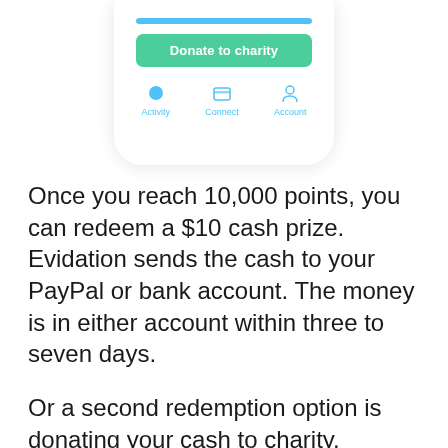[Figure (screenshot): Mobile app screenshot showing a blue progress bar, a green 'Donate to charity' button, and a bottom navigation bar with Activity, Connect, and Account icons in blue.]
Once you reach 10,000 points, you can redeem a $10 cash prize. Evidation sends the cash to your PayPal or bank account. The money is in either account within three to seven days.
Or a second redemption option is donating your cash to charity.
Positives and Negatives